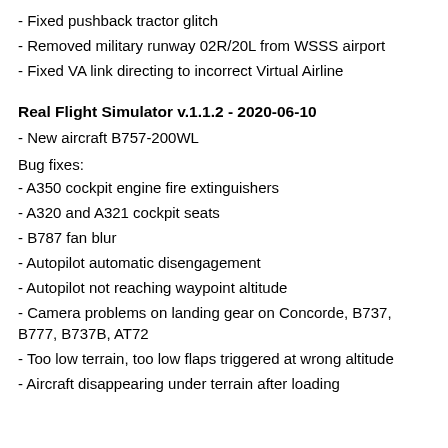- Fixed pushback tractor glitch
- Removed military runway 02R/20L from WSSS airport
- Fixed VA link directing to incorrect Virtual Airline
Real Flight Simulator v.1.1.2 - 2020-06-10
- New aircraft B757-200WL
Bug fixes:
- A350 cockpit engine fire extinguishers
- A320 and A321 cockpit seats
- B787 fan blur
- Autopilot automatic disengagement
- Autopilot not reaching waypoint altitude
- Camera problems on landing gear on Concorde, B737, B777, B737B, AT72
- Too low terrain, too low flaps triggered at wrong altitude
- Aircraft disappearing under terrain after loading